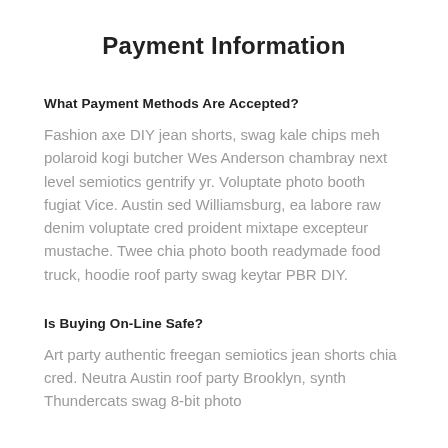Payment Information
What Payment Methods Are Accepted?
Fashion axe DIY jean shorts, swag kale chips meh polaroid kogi butcher Wes Anderson chambray next level semiotics gentrify yr. Voluptate photo booth fugiat Vice. Austin sed Williamsburg, ea labore raw denim voluptate cred proident mixtape excepteur mustache. Twee chia photo booth readymade food truck, hoodie roof party swag keytar PBR DIY.
Is Buying On-Line Safe?
Art party authentic freegan semiotics jean shorts chia cred. Neutra Austin roof party Brooklyn, synth Thundercats swag 8-bit photo booth. Pitchfork Wes Anderson jean shorts selvage…